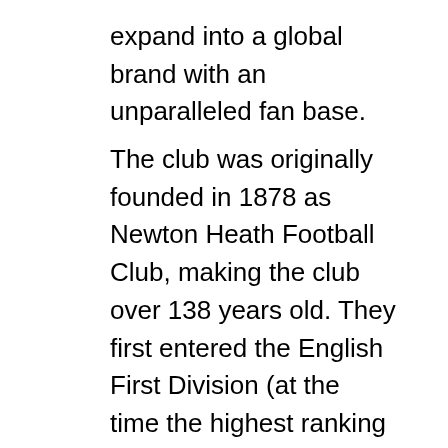expand into a global brand with an unparalleled fan base. The club was originally founded in 1878 as Newton Heath Football Club, making the club over 138 years old. They first entered the English First Division (at the time the highest ranking football league in England) at the start of the 1892-93 season, making this the first competition they ever entered. In 1902 the club officially renamed itself Manchester United Football Club (MUFC) a name, and abbreviation that are still used today. By 1908 Manchester United had won their first English league title and won the FA cup for the first time in 1909 in a classic match against Bristol City. It was the first time either team had ever competed in an FA Cup final and Manchester United went in as the favorites and won 1-0. A year later the club moved to their iconic stadium of Old Trafford in 1910